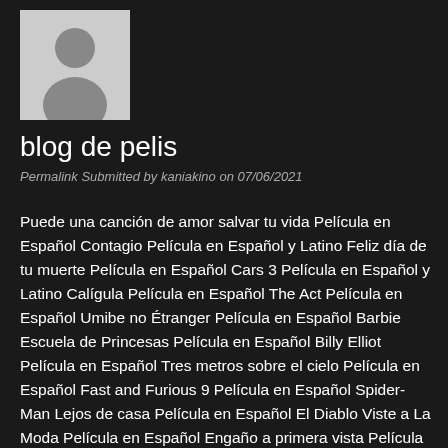[Figure (illustration): Default avatar/profile placeholder image showing a silhouette of a person on a light gray background]
blog de pelis
Permalink Submitted by kaniakino on 07/06/2021
Puede una canción de amor salvar tu vida Película en Español Contagio Película en Español y Latino Feliz día de tu muerte Película en Español Cars 3 Película en Español y Latino Calígula Película en Español The Act Película en Español Umibe no Étranger Película en Español Barbie Escuela de Princesas Película en Español Billy Elliot Película en Español Tres metros sobre el cielo Película en Español Fast and Furious 9 Película en Español Spider-Man Lejos de casa Película en Español El Diablo Viste a La Moda Película en Español Engaño a primera vista Película en Español Frozen 2 Película en Español Cj7 Película en Español Luca de Disney Película en Español Tengo ganas de ti